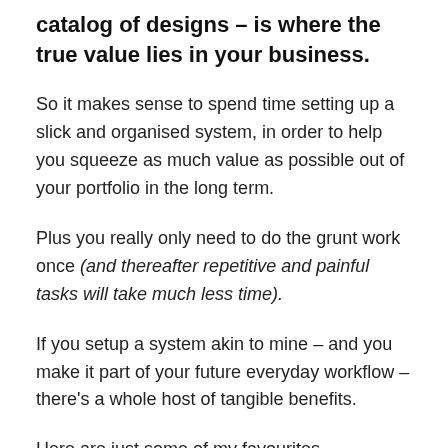catalog of designs – is where the true value lies in your business.
So it makes sense to spend time setting up a slick and organised system, in order to help you squeeze as much value as possible out of your portfolio in the long term.
Plus you really only need to do the grunt work once (and thereafter repetitive and painful tasks will take much less time).
If you setup a system akin to mine – and you make it part of your future everyday workflow – there's a whole host of tangible benefits.
Here are just some of my favourites